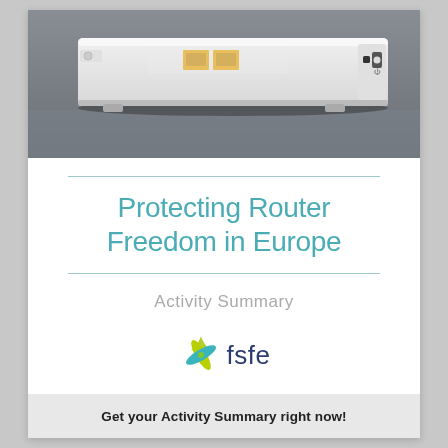[Figure (photo): Photo of the back panel of a white network router with yellow ethernet ports and a power switch, on a dark surface.]
Protecting Router Freedom in Europe
Activity Summary
[Figure (logo): FSFE logo: green and blue four-pointed star shape followed by the text 'fsfe' in dark blue.]
Get your Activity Summary right now!